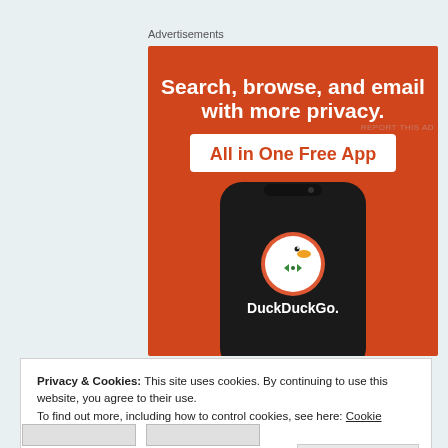Advertisements
[Figure (illustration): DuckDuckGo advertisement banner with orange background showing 'Search, browse, and email with more privacy. All in One Free App' text and a smartphone displaying the DuckDuckGo logo and app name.]
REPORT THIS AD
Privacy & Cookies: This site uses cookies. By continuing to use this website, you agree to their use.
To find out more, including how to control cookies, see here: Cookie Policy
Close and accept